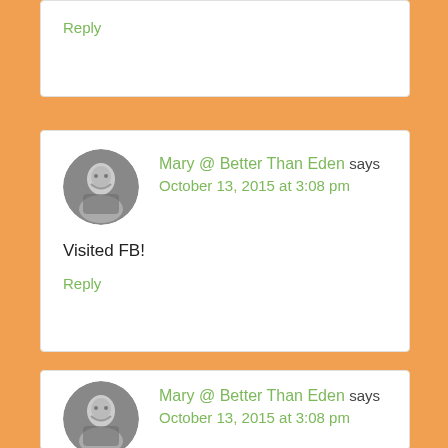Reply
Mary @ Better Than Eden says
October 13, 2015 at 3:08 pm
Visited FB!
Reply
Mary @ Better Than Eden says
October 13, 2015 at 3:08 pm
Pinned!